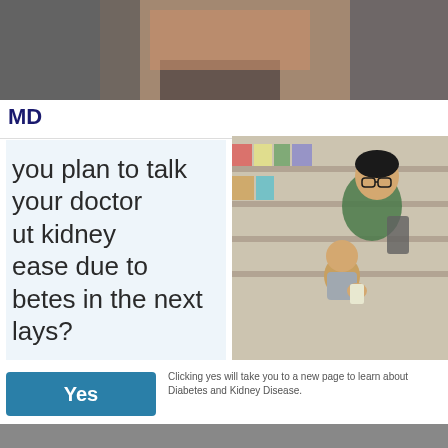[Figure (photo): Top banner showing a person's torso, dark/muted color background]
MD
[Figure (photo): A father holding a toddler while browsing grocery store shelves, examining product packaging]
you plan to talk your doctor ut kidney ease due to betes in the next lays?
Yes
Clicking yes will take you to a new page to learn about Diabetes and Kidney Disease.